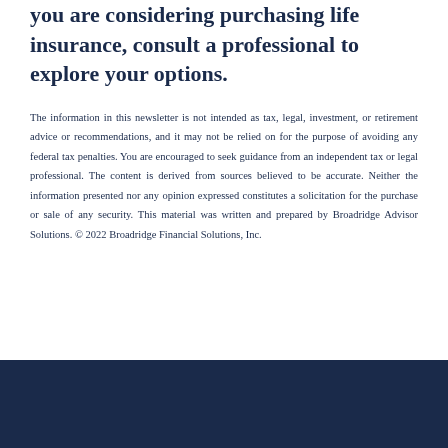you are considering purchasing life insurance, consult a professional to explore your options.
The information in this newsletter is not intended as tax, legal, investment, or retirement advice or recommendations, and it may not be relied on for the purpose of avoiding any federal tax penalties. You are encouraged to seek guidance from an independent tax or legal professional. The content is derived from sources believed to be accurate. Neither the information presented nor any opinion expressed constitutes a solicitation for the purchase or sale of any security. This material was written and prepared by Broadridge Advisor Solutions. © 2022 Broadridge Financial Solutions, Inc.